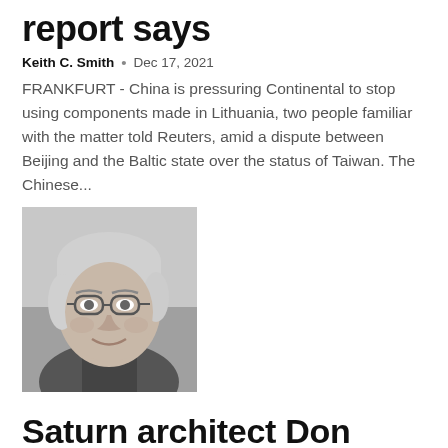report says
Keith C. Smith  •  Dec 17, 2021
FRANKFURT - China is pressuring Continental to stop using components made in Lithuania, two people familiar with the matter told Reuters, amid a dispute between Beijing and the Baltic state over the status of Taiwan. The Chinese...
[Figure (photo): Black and white headshot portrait of a middle-aged man with glasses and gray hair, smiling.]
Saturn architect Don Hudler has died at 87
Keith C. Smith  •  Dec 15, 2021